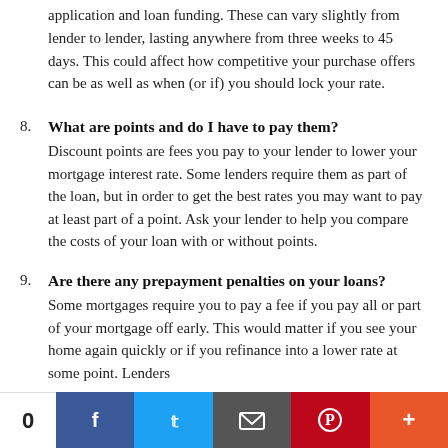application and loan funding. These can vary slightly from lender to lender, lasting anywhere from three weeks to 45 days. This could affect how competitive your purchase offers can be as well as when (or if) you should lock your rate.
8. What are points and do I have to pay them? Discount points are fees you pay to your lender to lower your mortgage interest rate. Some lenders require them as part of the loan, but in order to get the best rates you may want to pay at least part of a point. Ask your lender to help you compare the costs of your loan with or without points.
9. Are there any prepayment penalties on your loans? Some mortgages require you to pay a fee if you pay all or part of your mortgage off early. This would matter if you see your home again quickly or if you refinance into a lower rate at some point. Lenders
0